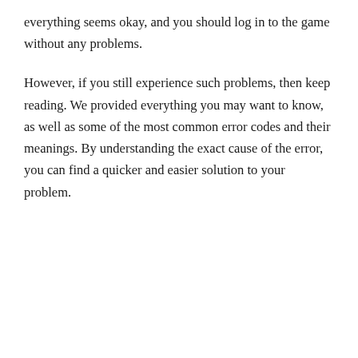everything seems okay, and you should log in to the game without any problems.
However, if you still experience such problems, then keep reading. We provided everything you may want to know, as well as some of the most common error codes and their meanings. By understanding the exact cause of the error, you can find a quicker and easier solution to your problem.